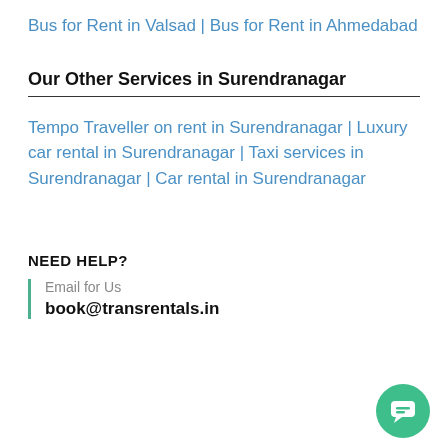Bus for Rent in Valsad | Bus for Rent in Ahmedabad
Our Other Services in Surendranagar
Tempo Traveller on rent in Surendranagar | Luxury car rental in Surendranagar | Taxi services in Surendranagar | Car rental in Surendranagar
NEED HELP?
Email for Us
book@transrentals.in